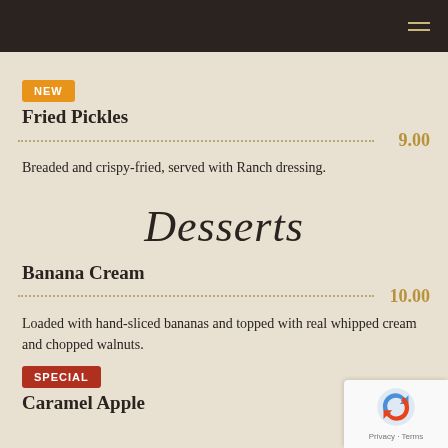Navigation header bar
NEW — Fried Pickles — 9.00 — Breaded and crispy-fried, served with Ranch dressing.
Desserts
Banana Cream — 10.00 — Loaded with hand-sliced bananas and topped with real whipped cream and chopped walnuts.
SPECIAL — Caramel Apple